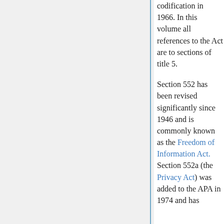codification in 1966. In this volume all references to the Act are to sections of title 5.
Section 552 has been revised significantly since 1946 and is commonly known as the Freedom of Information Act. Section 552a (the Privacy Act) was added to the APA in 1974 and has